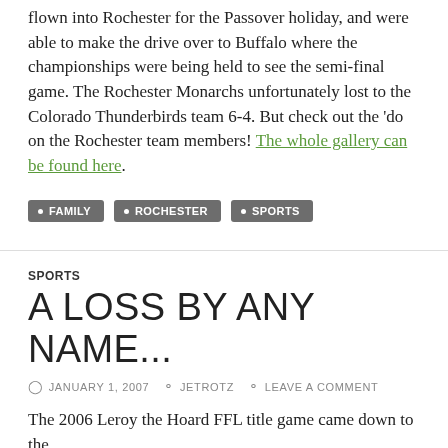flown into Rochester for the Passover holiday, and were able to make the drive over to Buffalo where the championships were being held to see the semi-final game. The Rochester Monarchs unfortunately lost to the Colorado Thunderbirds team 6-4. But check out the 'do on the Rochester team members! The whole gallery can be found here.
FAMILY
ROCHESTER
SPORTS
SPORTS
A LOSS BY ANY NAME...
JANUARY 1, 2007   JETROTZ   LEAVE A COMMENT
The 2006 Leroy the Hoard FFL title game came down to the